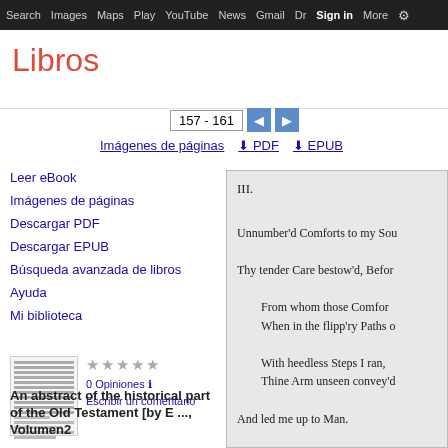Search  Images  Maps  Play  YouTube  News  Gmail  Dr  Sign in  More  ⚙
Libros
157 - 161
Imágenes de páginas  ⬇ PDF  ⬇ EPUB
Leer eBook
Imágenes de páginas
Descargar PDF
Descargar EPUB
Búsqueda avanzada de libros
Ayuda
Mi biblioteca
★★★★★
0 Opiniones ℹ
Escribir un comentario
An abstract of the historical part of the Old Testament [by E ..., Volumen2
[Figure (screenshot): Book viewer panel showing poem text: III. / Unnumber'd Comforts to my Sou / Thy tender Care bestow'd, Befor / From whom those Comfor / When in the flipp'ry Paths o / With heedless Steps I ran, / Thine Arm unseen convey'd / And led me up to Man. / IV. / Thro' hidden Dangers, Toils ...]